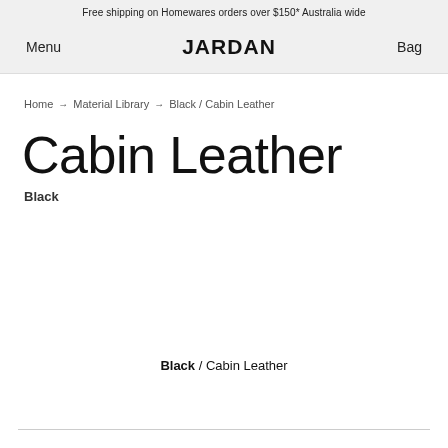Free shipping on Homewares orders over $150* Australia wide
Menu  JARDAN  Bag
Home → Material Library → Black / Cabin Leather
Cabin Leather
Black
Black / Cabin Leather